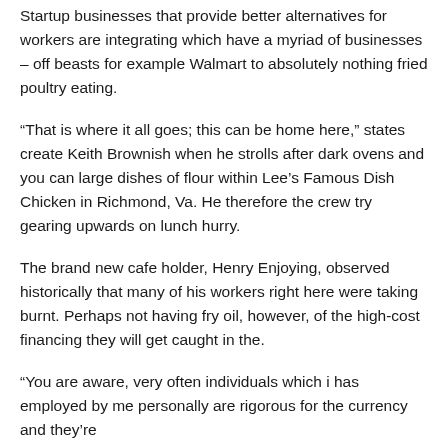Startup businesses that provide better alternatives for workers are integrating which have a myriad of businesses – off beasts for example Walmart to absolutely nothing fried poultry eating.
“That is where it all goes; this can be home here,” states create Keith Brownish when he strolls after dark ovens and you can large dishes of flour within Lee’s Famous Dish Chicken in Richmond, Va. He therefore the crew try gearing upwards on lunch hurry.
The brand new cafe holder, Henry Enjoying, observed historically that many of his workers right here were taking burnt. Perhaps not having fry oil, however, of the high-cost financing they will get caught in the.
“You are aware, very often individuals which i has employed by me personally are rigorous for the currency and they’re